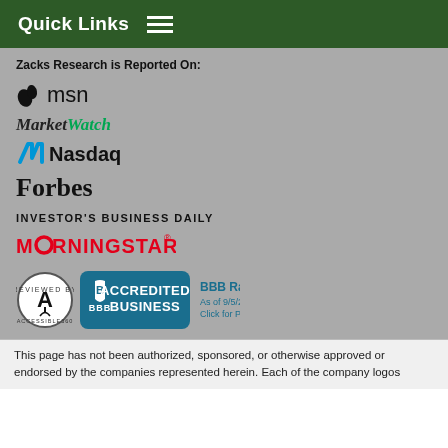Quick Links
Zacks Research is Reported On:
[Figure (logo): MSN logo with butterfly icon and 'msn' text]
[Figure (logo): MarketWatch logo in italic bold, 'Market' in dark, 'Watch' in green]
[Figure (logo): Nasdaq logo with blue N icon and 'Nasdaq' text]
[Figure (logo): Forbes logo in bold serif font]
[Figure (logo): Investor's Business Daily logo in small caps]
[Figure (logo): Morningstar logo in red capital letters with circular O]
[Figure (logo): Accessible360 badge (circular) and BBB Accredited Business badge with rating A+ as of 9/5/2022]
This page has not been authorized, sponsored, or otherwise approved or endorsed by the companies represented herein. Each of the company logos